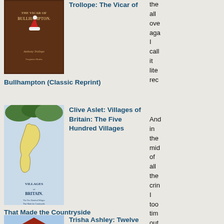[Figure (photo): Book cover of Anthony Trollope: The Vicar of Bullhampton (Classic Reprint), dark brown cover with Christmas hat decoration]
Trollope: The Vicar of
Bullhampton (Classic Reprint)
the all ove aga I call it lite rec
[Figure (photo): Book cover of Clive Aslet: Villages of Britain: The Five Hundred Villages That Made the Countryside, map of Britain]
Clive Aslet: Villages of Britain: The Five Hundred Villages
That Made the Countryside
And in the mid of all the crin I too tim out to tak
[Figure (photo): Book cover of Trisha Ashley: Twelve, illustrated house with snow]
Trisha Ashley: Twelve